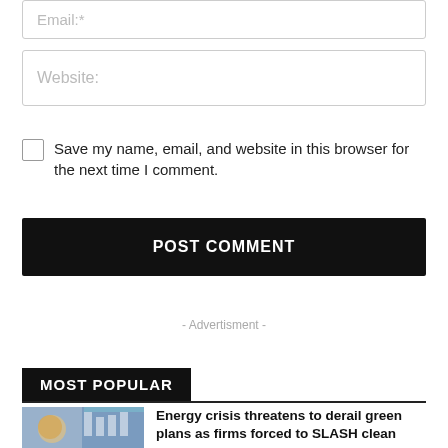Email:*
Website:
Save my name, email, and website in this browser for the next time I comment.
POST COMMENT
- Advertisment -
MOST POPULAR
Energy crisis threatens to derail green plans as firms forced to SLASH clean